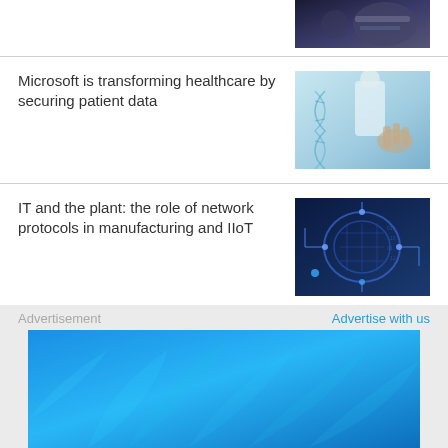[Figure (photo): Partial image of person at computer, top of page]
Microsoft is transforming healthcare by securing patient data
[Figure (photo): Doctor with digital DNA/medical technology overlay]
IT and the plant: the role of network protocols in manufacturing and IIoT
[Figure (photo): Circuit board brain digital technology on blue background]
Advertisement
Advertise with us
[Figure (photo): Blue advertisement banner with leaf/plant decorative elements]